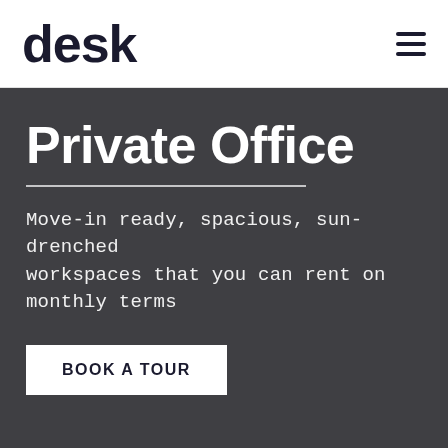desk
[Figure (photo): Black and white photo of a modern private office interior with glass walls, corridor, desk and office chair]
Private Office
Move-in ready, spacious, sun-drenched workspaces that you can rent on monthly terms
Book A Tour